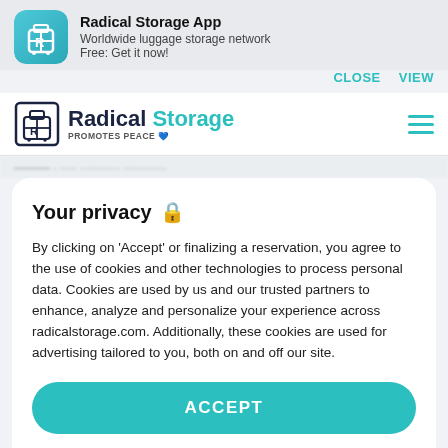[Figure (screenshot): App install banner for Radical Storage App with icon, app name, subtitle, and CLOSE/VIEW buttons]
[Figure (logo): Radical Storage logo with luggage icon, wordmark 'Radical Storage', tagline 'PROMOTES PEACE' and Ukrainian flag heart emoji, plus hamburger menu icon]
[blurred background text strip]
Your privacy 🔒
By clicking on 'Accept' or finalizing a reservation, you agree to the use of cookies and other technologies to process personal data. Cookies are used by us and our trusted partners to enhance, analyze and personalize your experience across radicalstorage.com. Additionally, these cookies are used for advertising tailored to you, both on and off our site.
ACCEPT
Manage settings
you need is a smartphone, the Radical app, and an internet connection. You can activate the geolocation, and our system will tell